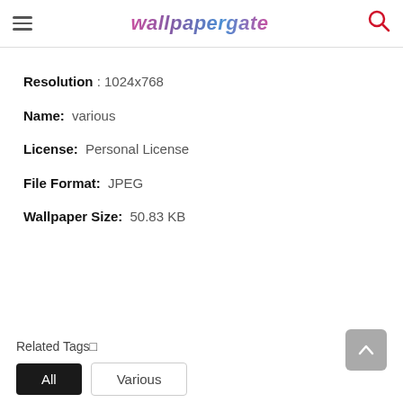wallpapergate
Resolution : 1024x768
Name: various
License: Personal License
File Format: JPEG
Wallpaper Size: 50.83 KB
Related Tags⊡
All
Various